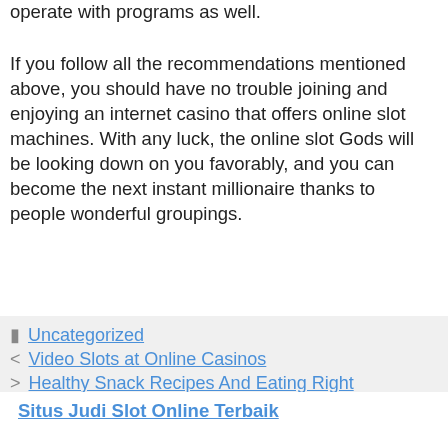operate with programs as well.
If you follow all the recommendations mentioned above, you should have no trouble joining and enjoying an internet casino that offers online slot machines. With any luck, the online slot Gods will be looking down on you favorably, and you can become the next instant millionaire thanks to people wonderful groupings.
Uncategorized
Video Slots at Online Casinos
Healthy Snack Recipes And Eating Right
Situs Judi Slot Online Terbaik